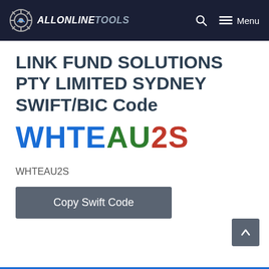ALLONLINETOOLS — Menu
LINK FUND SOLUTIONS PTY LIMITED SYDNEY SWIFT/BIC Code
WHTEAU2S
WHTEAU2S
Copy Swift Code